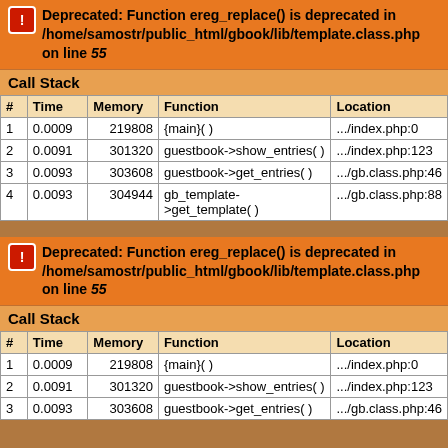Deprecated: Function ereg_replace() is deprecated in /home/samostr/public_html/gbook/lib/template.class.php on line 55
| # | Time | Memory | Function | Location |
| --- | --- | --- | --- | --- |
| 1 | 0.0009 | 219808 | {main}( ) | .../index.php:0 |
| 2 | 0.0091 | 301320 | guestbook->show_entries( ) | .../index.php:123 |
| 3 | 0.0093 | 303608 | guestbook->get_entries( ) | .../gb.class.php:46 |
| 4 | 0.0093 | 304944 | gb_template->get_template( ) | .../gb.class.php:88 |
Deprecated: Function ereg_replace() is deprecated in /home/samostr/public_html/gbook/lib/template.class.php on line 55
| # | Time | Memory | Function | Location |
| --- | --- | --- | --- | --- |
| 1 | 0.0009 | 219808 | {main}( ) | .../index.php:0 |
| 2 | 0.0091 | 301320 | guestbook->show_entries( ) | .../index.php:123 |
| 3 | 0.0093 | 303608 | guestbook->get_entries( ) | .../gb.class.php:46 |